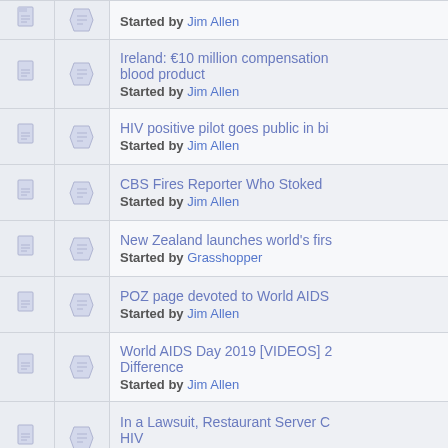Started by Jim Allen
Ireland: €10 million compensation blood product
Started by Jim Allen
HIV positive pilot goes public in bi...
Started by Jim Allen
CBS Fires Reporter Who Stoked ...
Started by Jim Allen
New Zealand launches world's firs...
Started by Grasshopper
POZ page devoted to World AIDS ...
Started by Jim Allen
World AIDS Day 2019 [VIDEOS] 2... Difference
Started by Jim Allen
In a Lawsuit, Restaurant Server C... HIV
Started by Jim Allen
Judge ruling - Philadelphia Safe I... Law
Started by Jim Allen